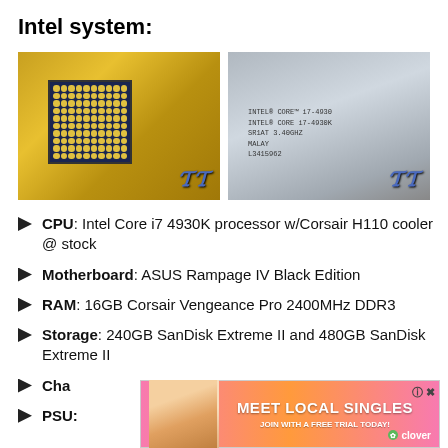Intel system:
[Figure (photo): Two close-up photos of an Intel Core i7 4930K CPU. Left photo shows the gold-colored pin side of the CPU with the LGA contact array. Right photo shows the top lid of the CPU with printed text: INTEL CORE TM i7-4930, INTEL CORE i7-4930K, SR1AT 3.40GHZ, MALAY, L3415962.]
CPU: Intel Core i7 4930K processor w/Corsair H110 cooler @ stock
Motherboard: ASUS Rampage IV Black Edition
RAM: 16GB Corsair Vengeance Pro 2400MHz DDR3
Storage: 240GB SanDisk Extreme II and 480GB SanDisk Extreme II
Chas[sis: ...]
PSU:
[Figure (screenshot): Advertisement banner overlay: MEET LOCAL SINGLES, JOIN WITH A FREE TRIAL TODAY!, clover logo, close button X]